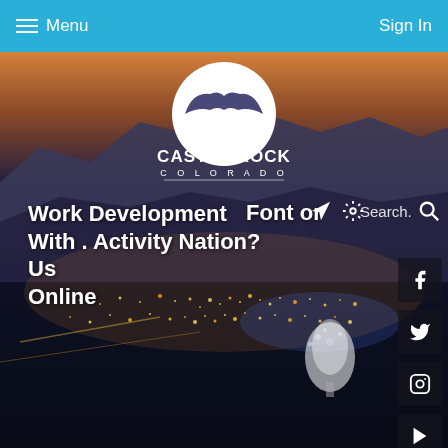Menu | Sign In
[Figure (screenshot): Town of Castle Rock, Colorado municipal website screenshot showing city aerial photo at night with logo, navigation menu, search bar, and social media icons]
Town of Castle Rock Colorado
Work With Us Online
Development Activity Nation?
Send to
Search.